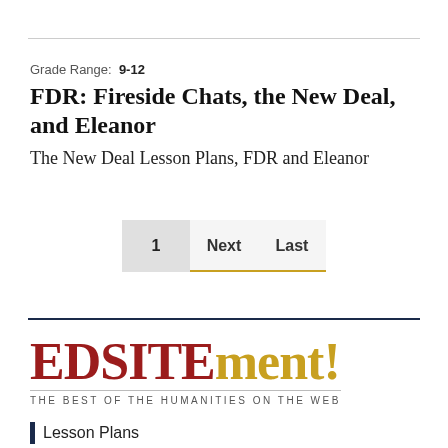Grade Range: 9-12
FDR: Fireside Chats, the New Deal, and Eleanor
The New Deal Lesson Plans, FDR and Eleanor
1   Next   Last
[Figure (logo): EDSITEment! logo with tagline THE BEST OF THE HUMANITIES ON THE WEB]
Lesson Plans